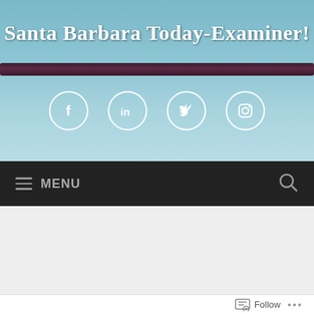Santa Barbara Today-Examiner!
[Figure (screenshot): Social media icons: Facebook, LinkedIn, Twitter, Instagram in white circles on blue background]
[Figure (screenshot): Navigation menu bar with hamburger menu icon and MENU text on dark background, and a search icon]
Man Starves to Death in Los Positas Roundabout
[Figure (screenshot): Follow button with icon and ellipsis dots at bottom of page]